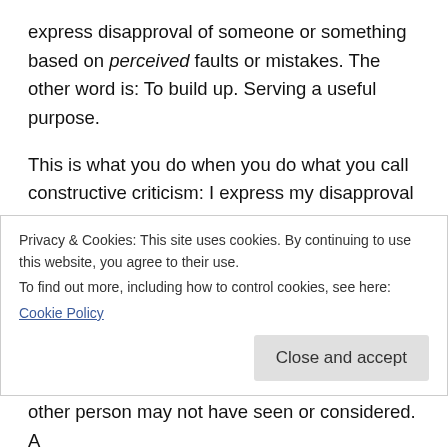express disapproval of someone or something based on perceived faults or mistakes. The other word is: To build up. Serving a useful purpose.
This is what you do when you do what you call constructive criticism: I express my disapproval of something about you I perceive to be a fault, and I am doing this for the useful purpose of building you up; by tearing you down with my own judgment.... which is not necessarily based on factual evidence...but my biased perception. No. There is a term, but no such thing as
Privacy & Cookies: This site uses cookies. By continuing to use this website, you agree to their use.
To find out more, including how to control cookies, see here:
Cookie Policy
other person may not have seen or considered. A